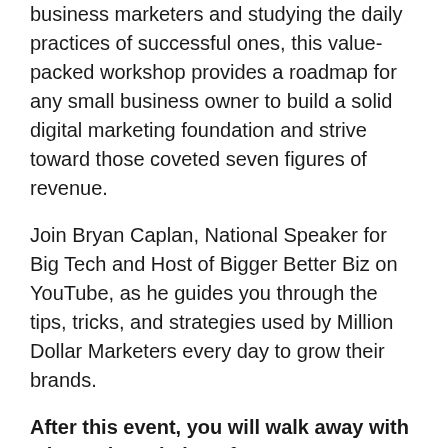business marketers and studying the daily practices of successful ones, this value-packed workshop provides a roadmap for any small business owner to build a solid digital marketing foundation and strive toward those coveted seven figures of revenue.
Join Bryan Caplan, National Speaker for Big Tech and Host of Bigger Better Biz on YouTube, as he guides you through the tips, tricks, and strategies used by Million Dollar Marketers every day to grow their brands.
After this event, you will walk away with a better knowledge of:
Setting and accomplishing goals